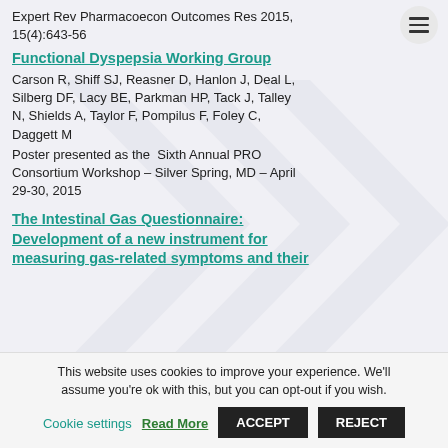Expert Rev Pharmacoecon Outcomes Res 2015, 15(4):643-56
Functional Dyspepsia Working Group
Carson R, Shiff SJ, Reasner D, Hanlon J, Deal L, Silberg DF, Lacy BE, Parkman HP, Tack J, Talley N, Shields A, Taylor F, Pompilus F, Foley C, Daggett M
Poster presented as the Sixth Annual PRO Consortium Workshop – Silver Spring, MD – April 29-30, 2015
The Intestinal Gas Questionnaire: Development of a new instrument for measuring gas-related symptoms and their
This website uses cookies to improve your experience. We'll assume you're ok with this, but you can opt-out if you wish.
Cookie settings
Read More
ACCEPT
REJECT